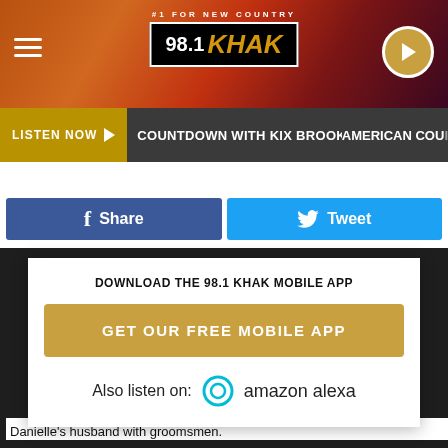[Figure (screenshot): 98.1 KHAK radio station header banner with logo, hamburger menu, and play button]
#1 FOR NEW COUNTRY 98.1 KHAK
LISTEN NOW ▶  COUNTDOWN WITH KIX BROOKS  AMERICAN COU
f  Share
Tweet
DOWNLOAD THE 98.1 KHAK MOBILE APP
GET OUR FREE MOBILE APP
Also listen on:  amazon alexa
Danielle's husband with groomsmen.